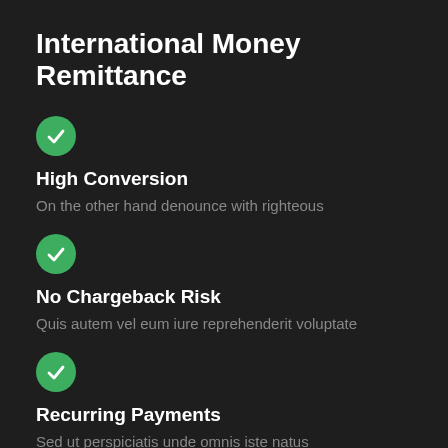International Money Remittance
High Conversion
On the other hand denounce with righteous
No Chargeback Risk
Quis autem vel eum iure reprehenderit voluptate
Recurring Payments
Sed ut perspiciatis unde omnis iste natus